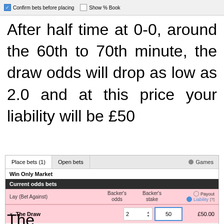[Figure (screenshot): Top strip showing 'Confirm bets before placing' checkbox (checked) and 'Show % Book' checkbox (unchecked)]
After half time at 0-0, around the 60th to 70th minute, the draw odds will drop as low as 2.0 and at this price your liability will be £50
[Figure (screenshot): Betfair betting interface showing 'Place bets (1)' and 'Open bets' tabs, 'Win Only Market', Current odds bets table with Lay (Bet Against) row for The Draw at odds 2, stake 50, liability £50.00, Cancel all selections button, Place bets button, and Confirm bets before placing checkbox]
The